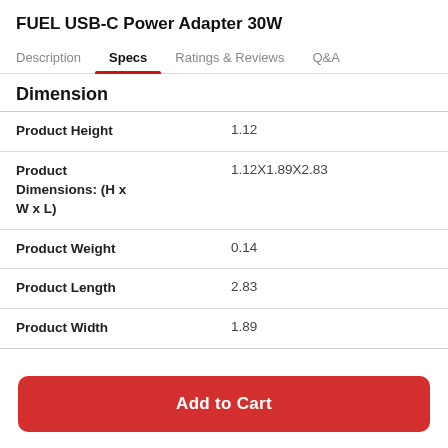FUEL USB-C Power Adapter 30W
Description	Specs	Ratings & Reviews	Q&A
Dimension
|  |  |
| --- | --- |
| Product Height | 1.12 |
| Product Dimensions: (H x W x L) | 1.12X1.89X2.83 |
| Product Weight | 0.14 |
| Product Length | 2.83 |
| Product Width | 1.89 |
Add to Cart